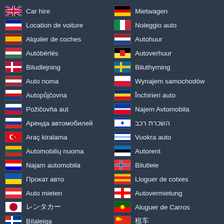Car hire (UK)
Mietwagen (Germany)
Location de voiture (France)
Noleggio auto (Italy)
Alquiler de coches (Spain)
Autohuur (Netherlands)
Autóbérlés (Hungary)
Autoverhuur (Belgium)
Biludlejning (Denmark)
Biluthyrning (Sweden)
Auto noma (Latvia)
Wynajem samochodów (Poland)
Autopůjčovna (Czech Republic)
Închirieri auto (Romania)
Požičovňa aut (Slovakia)
Najem Avtomobila (Slovenia)
Аренда автомобилей (Russia)
השכרת רכב (Israel)
Araç kiralama (Turkey)
Vuokra auto (Finland)
Automobilių nuoma (Lithuania)
Autorent (Estonia)
Najam automobila (Croatia)
Bilutleie (Norway)
Прокат авто (Ukraine)
Lloguer de cotxes (Catalonia)
Auto mieten (Austria)
Autovermietung (Switzerland)
レンタカー (Japan)
Aluguer de Carros (Portugal)
Bílaleiga (Iceland)
租车 (China)
汽車出租 (Taiwan)
تأجير السيارات (UAE)